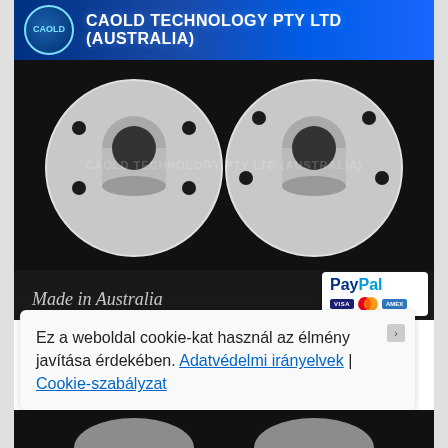[Figure (logo): CAOLD company logo circle with cyan border and text]
CAOLD TECHNOLOGY PTY LTD (AUSTRALIA)
[Figure (photo): Two silver aluminum wheel spacers/flanges with bolt holes on dark background, watermark text CAOLD TECHNOLOGY PTY LTD (AUSTRALIA), Made in Australia italic script, PayPal and credit card badges]
Ez a weboldal cookie-kat használ az élmény javítása érdekében. Adatvédelmi irányelvek | Cookie-szabályzat